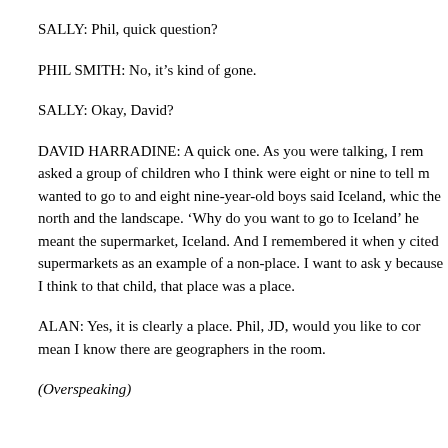SALLY: Phil, quick question?
PHIL SMITH: No, it’s kind of gone.
SALLY: Okay, David?
DAVID HARRADINE: A quick one. As you were talking, I rem asked a group of children who I think were eight or nine to tell me wanted to go to and eight nine-year-old boys said Iceland, which the north and the landscape. ‘Why do you want to go to Iceland’ he meant the supermarket, Iceland. And I remembered it when y cited supermarkets as an example of a non-place. I want to ask y because I think to that child, that place was a place.
ALAN: Yes, it is clearly a place. Phil, JD, would you like to con mean I know there are geographers in the room.
(Overspeaking)